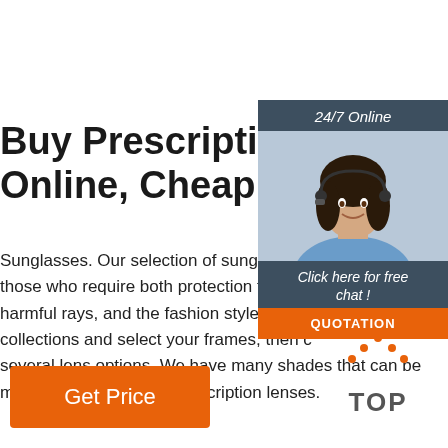Buy Prescription Sunglasses Online, Cheap Designer
[Figure (illustration): Customer service agent (woman with headset) with 24/7 Online header, Click here for free chat italic text, and orange QUOTATION button]
Sunglasses. Our selection of sunglasses those who require both protection from the harmful rays, and the fashion styles. Browse collections and select your frames, then choose several lens options. We have many shades that can be made with and without prescription lenses.
[Figure (illustration): Orange TOP button with upward arrow dots icon]
Get Price